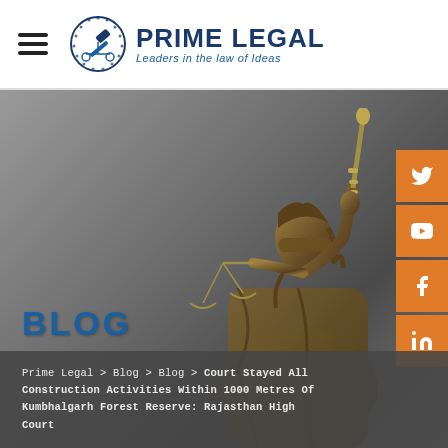PRIME LEGAL — Leaders in the law of Ideas
[Figure (photo): Lady Justice bronze statue holding scales and sword against gray background, with BLOG title overlay and breadcrumb navigation bar at bottom. Social media icons (Twitter, YouTube, Facebook, LinkedIn) on right side.]
BLOG
Prime Legal > Blog > Blog > Court Stayed All Construction Activities Within 1000 Metres Of Kumbhalgarh Forest Reserve: Rajasthan High Court